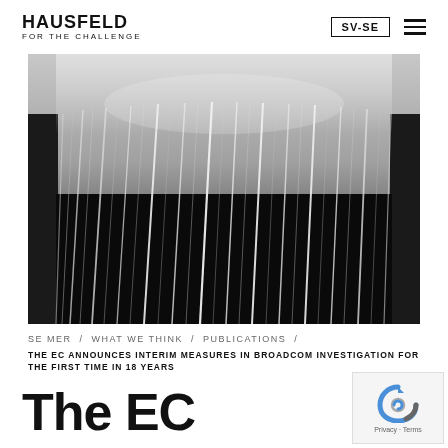HAUSFELD FOR THE CHALLENGE
[Figure (photo): Close-up black and white photo of pages of a book or document fanned out, showing vertical streaks of light paper pages against dark covers.]
SE MER / WHAT WE THINK / PUBLICATIONS /
THE EC ANNOUNCES INTERIM MEASURES IN BROADCOM INVESTIGATION FOR THE FIRST TIME IN 18 YEARS
The EC announces